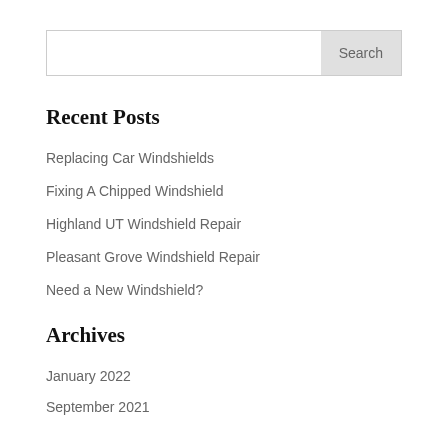Recent Posts
Replacing Car Windshields
Fixing A Chipped Windshield
Highland UT Windshield Repair
Pleasant Grove Windshield Repair
Need a New Windshield?
Archives
January 2022
September 2021
August 2021
June 2021